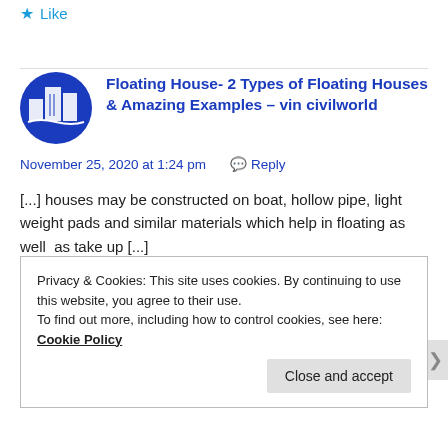Like
Floating House- 2 Types of Floating Houses & Amazing Examples – vin civilworld
November 25, 2020 at 1:24 pm   Reply
[...] houses may be constructed on boat, hollow pipe, light weight pads and similar materials which help in floating as well  as take up [...]
Privacy & Cookies: This site uses cookies. By continuing to use this website, you agree to their use.
To find out more, including how to control cookies, see here: Cookie Policy
Close and accept